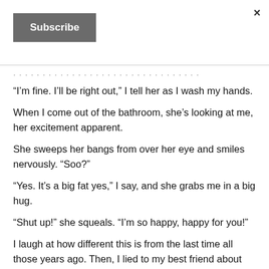Subscribe
“I’m fine. I’ll be right out,” I tell her as I wash my hands.
When I come out of the bathroom, she’s looking at me, her excitement apparent.
She sweeps her bangs from over her eye and smiles nervously. “Soo?”
“Yes. It’s a big fat yes,” I say, and she grabs me in a big hug.
“Shut up!” she squeals. “I’m so happy, happy for you!”
I laugh at how different this is from the last time all those years ago. Then, I lied to my best friend about the test results. Then, I was terrified and wanted to throw up. Then, it magnified the shambles my life was in. Now it’s different. I’m